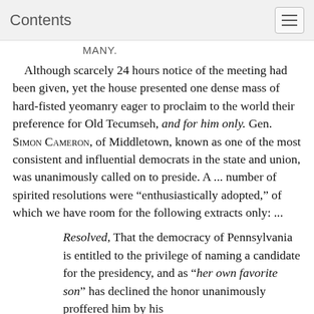Contents
MANY.
Although scarcely 24 hours notice of the meeting had been given, yet the house presented one dense mass of hard-fisted yeomanry eager to proclaim to the world their preference for Old Tecumseh, and for him only. Gen. Simon Cameron, of Middletown, known as one of the most consistent and influential democrats in the state and union, was unanimously called on to preside. A ... number of spirited resolutions were “enthusiastically adopted,” of which we have room for the following extracts only: ...
Resolved, That the democracy of Pennsylvania is entitled to the privilege of naming a candidate for the presidency, and as “her own favorite son” has declined the honor unanimously proffered him by his